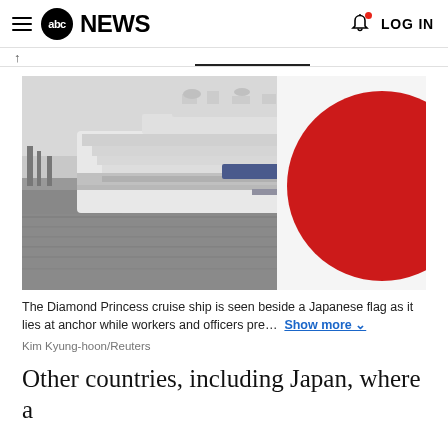abc NEWS   LOG IN
[Figure (photo): The Diamond Princess cruise ship docked at a port with a Japanese flag in the foreground (right side). The ship is large and white, photographed in grey/monochrome tones, with water visible in front.]
The Diamond Princess cruise ship is seen beside a Japanese flag as it lies at anchor while workers and officers pre...   Show more
Kim Kyung-hoon/Reuters
Other countries, including Japan, where a